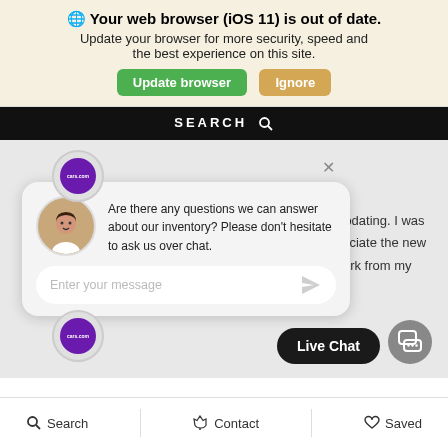🌐 Your web browser (iOS 11) is out of date. Update your browser for more security, speed and the best experience on this site.
[Figure (screenshot): Browser update notification banner with green 'Update browser' button and tan 'Ignore' button]
[Figure (screenshot): Black search bar with SEARCH text and magnifying glass icon]
[Figure (screenshot): Live chat popup widget showing cars.com logo, agent avatar, chat message asking about inventory questions, text input field, Live Chat button, and close X button. Background shows partial review text about 'commodating. I was ...appreciate the new ...rize work from my']
[Figure (screenshot): Bottom navigation bar with Search, Contact, and Saved icons]